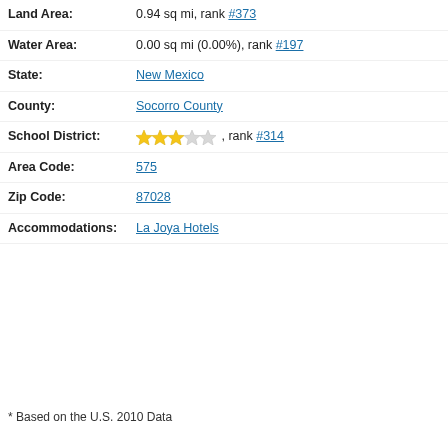Land Area: 0.94 sq mi, rank #373
Water Area: 0.00 sq mi (0.00%), rank #197
State: New Mexico
County: Socorro County
School District: ★★★☆☆, rank #314
Area Code: 575
Zip Code: 87028
Accommodations: La Joya Hotels
* Based on the U.S. 2010 Data